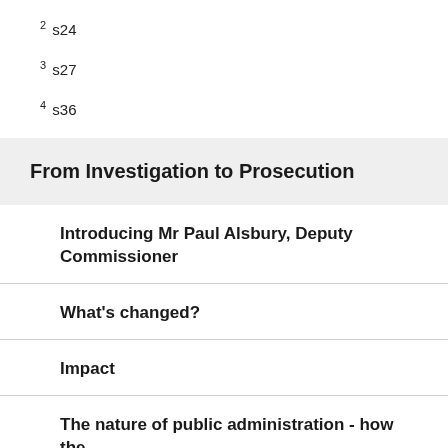2 s24
3 s27
4 s36
From Investigation to Prosecution
Introducing Mr Paul Alsbury, Deputy Commissioner
What's changed?
Impact
The nature of public administration - how the